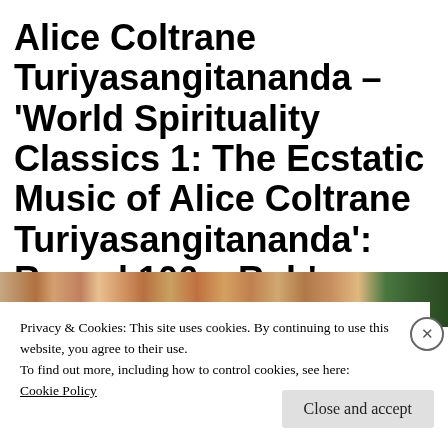Alice Coltrane Turiyasangitananda – 'World Spirituality Classics 1: The Ecstatic Music of Alice Coltrane Turiyasangitananda': Round 106 – Rob's choice
[Figure (photo): A horizontal photo strip showing a group of people, partially visible at the top of the cookie banner.]
Privacy & Cookies: This site uses cookies. By continuing to use this website, you agree to their use.
To find out more, including how to control cookies, see here:
Cookie Policy
Close and accept